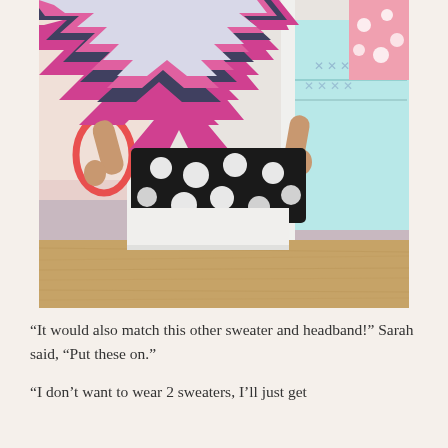[Figure (photo): A doll wearing a chevron striped top in pink, black, white and gray, with a black and white polka dot skirt. The doll is standing barefoot on a tan carpet, holding a red/coral headband in one hand. In the background there is a white furniture piece and hanging clothes including a light blue garment.]
“It would also match this other sweater and headband!” Sarah said, “Put these on.”
“I don’t want to wear 2 sweaters, I’ll just get